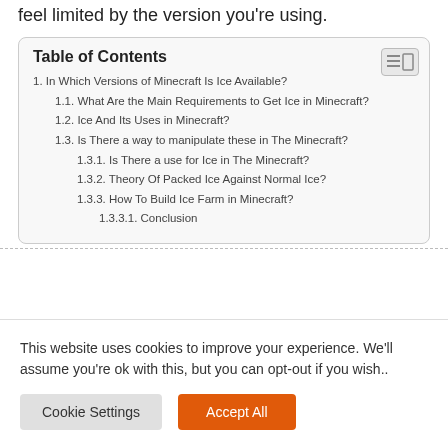feel limited by the version you're using.
Table of Contents
1. In Which Versions of Minecraft Is Ice Available?
1.1. What Are the Main Requirements to Get Ice in Minecraft?
1.2. Ice And Its Uses in Minecraft?
1.3. Is There a way to manipulate these in The Minecraft?
1.3.1. Is There a use for Ice in The Minecraft?
1.3.2. Theory Of Packed Ice Against Normal Ice?
1.3.3. How To Build Ice Farm in Minecraft?
1.3.3.1. Conclusion
This website uses cookies to improve your experience. We'll assume you're ok with this, but you can opt-out if you wish..